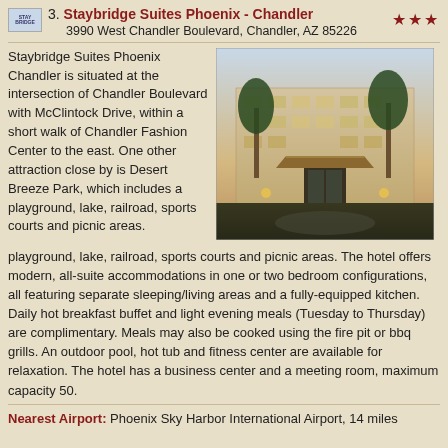3. Staybridge Suites Phoenix - Chandler
3990 West Chandler Boulevard, Chandler, AZ 85226
[Figure (photo): Exterior photo of Staybridge Suites Phoenix Chandler hotel building at dusk, showing a multi-story beige building with palm trees in the foreground and an illuminated covered entrance.]
Staybridge Suites Phoenix Chandler is situated at the intersection of Chandler Boulevard with McClintock Drive, within a short walk of Chandler Fashion Center to the east. One other attraction close by is Desert Breeze Park, which includes a playground, lake, railroad, sports courts and picnic areas. The hotel offers modern, all-suite accommodations in one or two bedroom configurations, all featuring separate sleeping/living areas and a fully-equipped kitchen. Daily hot breakfast buffet and light evening meals (Tuesday to Thursday) are complimentary. Meals may also be cooked using the fire pit or bbq grills. An outdoor pool, hot tub and fitness center are available for relaxation. The hotel has a business center and a meeting room, maximum capacity 50.
Nearest Airport: Phoenix Sky Harbor International Airport, 14 miles